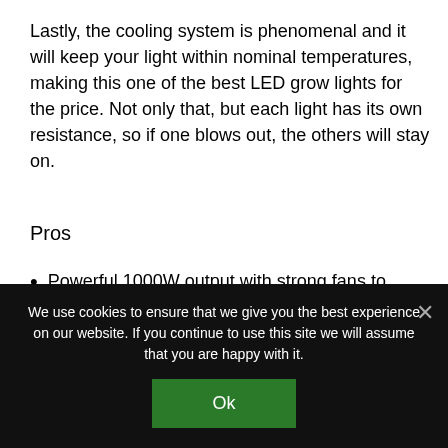Lastly, the cooling system is phenomenal and it will keep your light within nominal temperatures, making this one of the best LED grow lights for the price. Not only that, but each light has its own resistance, so if one blows out, the others will stay on.
Pros
Powerful 1000W output with strong fans to reduce temperatures
We use cookies to ensure that we give you the best experience on our website. If you continue to use this site we will assume that you are happy with it.